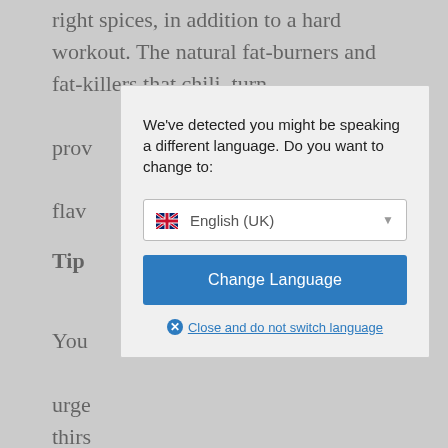right spices, in addition to a hard workout. The natural fat-burners and fat-killers that chili, turmeric, cinnamon and ginger provide, will give your food a whole new flavor.
Tip 3:
You can drink water to reduce the urge to eat. This prevents you from being thirsty as well as from being hungry, satisfying your appetite and reducing the hungry feeling in the afternoon. You can still eat healthy snacks if that is not the case.
Tip 4: Use whole Grains in place of white Flour during Mealtimes
[Figure (screenshot): Language selection modal dialog overlay. Contains message 'We've detected you might be speaking a different language. Do you want to change to:' with a dropdown showing English (UK) with a UK flag, a blue 'Change Language' button, and a 'Close and do not switch language' link.]